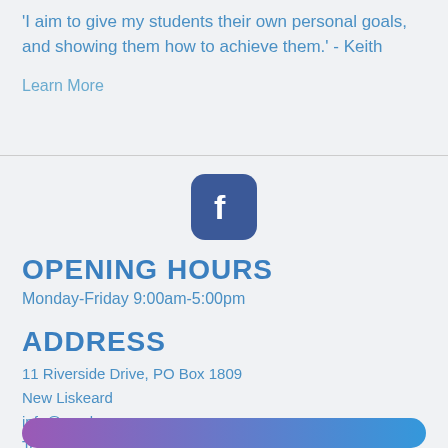'I aim to give my students their own personal goals, and showing them how to achieve them.' - Keith
Learn More
[Figure (logo): Facebook icon - rounded square blue logo with white 'f' letter]
OPENING HOURS
Monday-Friday 9:00am-5:00pm
ADDRESS
11 Riverside Drive, PO Box 1809
New Liskeard
info@ncmlessons.com
Tel: 1-800-966-9043
www.northernconservatoryofmusic.com